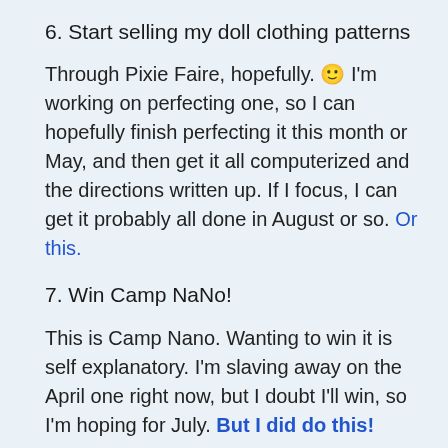6. Start selling my doll clothing patterns
Through Pixie Faire, hopefully. 🙂 I'm working on perfecting one, so I can hopefully finish perfecting it this month or May, and then get it all computerized and the directions written up. If I focus, I can get it probably all done in August or so. Or this.
7. Win Camp NaNo!
This is Camp Nano. Wanting to win it is self explanatory. I'm slaving away on the April one right now, but I doubt I'll win, so I'm hoping for July. But I did do this!
8. See my cousin